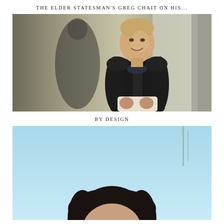THE ELDER STATESMAN'S GREG CHAIT ON HIS...
[Figure (photo): Man in black leather jacket smiling, standing in front of a neutral-toned background, with a blurred figure visible on the left side.]
BY DESIGN
[Figure (photo): Woman with dark hair, partially visible from the top, against a light blue sky background.]